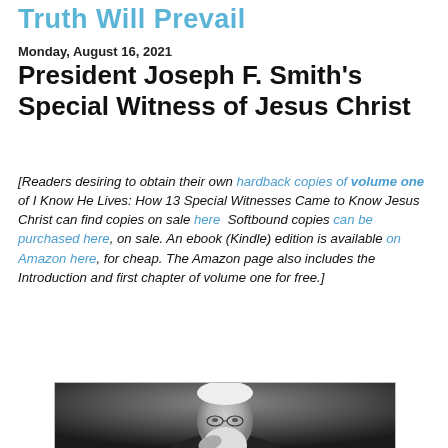Truth Will Prevail
Monday, August 16, 2021
President Joseph F. Smith's Special Witness of Jesus Christ
[Readers desiring to obtain their own hardback copies of volume one of I Know He Lives: How 13 Special Witnesses Came to Know Jesus Christ can find copies on sale here  Softbound copies can be purchased here, on sale. An ebook (Kindle) edition is available on Amazon here, for cheap. The Amazon page also includes the Introduction and first chapter of volume one for free.]
[Figure (photo): Black and white portrait photograph of an elderly bearded man (President Joseph F. Smith) with glasses, hand raised to chin in a contemplative pose.]